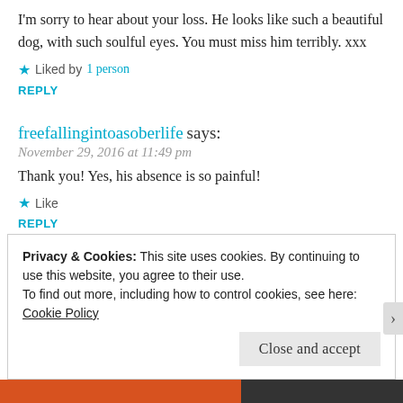I'm sorry to hear about your loss. He looks like such a beautiful dog, with such soulful eyes. You must miss him terribly. xxx
★ Liked by 1 person
REPLY
freefallingintoasoberlife says:
November 29, 2016 at 11:49 pm
Thank you! Yes, his absence is so painful!
★ Like
REPLY
Privacy & Cookies: This site uses cookies. By continuing to use this website, you agree to their use.
To find out more, including how to control cookies, see here:
Cookie Policy
Close and accept